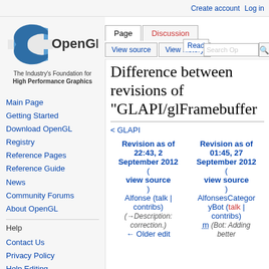Create account  Log in
[Figure (logo): OpenGL logo with blue eye/C shape and 'OpenGL.' text, tagline: The Industry's Foundation for High Performance Graphics]
The Industry's Foundation for High Performance Graphics
Main Page
Getting Started
Download OpenGL
Registry
Reference Pages
Reference Guide
News
Community Forums
About OpenGL
Help
Contact Us
Privacy Policy
Help Editing
Difference between revisions of "GLAPI/glFramebuffer
< GLAPI
| Revision as of 22:43, 2 September 2012 | Revision as of 01:45, 27 September 2012 |
| --- | --- |
| (view source) | (view source) |
| Alfonse (talk | contribs) | AlfonsesCategoryBot (talk | contribs) |
| (→Description: correction.) | m (Bot: Adding better |